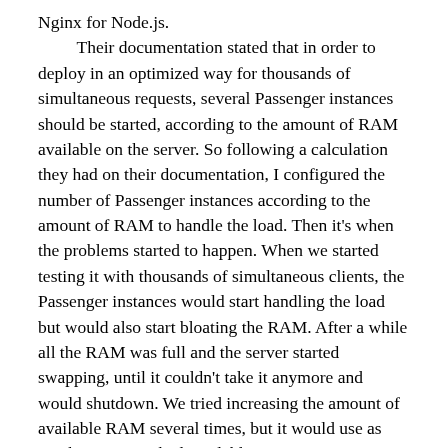Nginx for Node.js.
	Their documentation stated that in order to deploy in an optimized way for thousands of simultaneous requests, several Passenger instances should be started, according to the amount of RAM available on the server. So following a calculation they had on their documentation, I configured the number of Passenger instances according to the amount of RAM to handle the load. Then it's when the problems started to happen. When we started testing it with thousands of simultaneous clients, the Passenger instances would start handling the load but would also start bloating the RAM. After a while all the RAM was full and the server started swapping, until it couldn't take it anymore and would shutdown. We tried increasing the amount of available RAM several times, but it would use as much RAM as it had available.
	Looking into the problem and discussing it on some IRC channels, I realised the issue was that Passenger's deployment documentation was